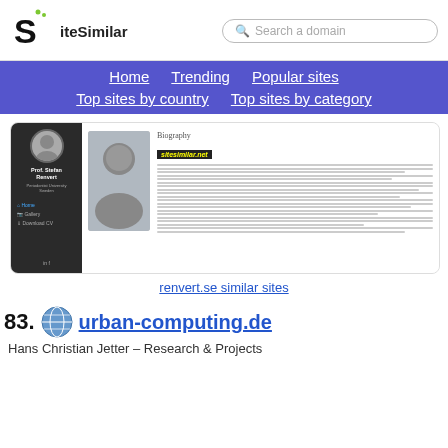[Figure (logo): SiteSimilar logo with S letter and green dots]
[Figure (screenshot): Search box with 'Search a domain' placeholder]
Home | Trending | Popular sites | Top sites by country | Top sites by category
[Figure (screenshot): Screenshot of renvert.se website showing Prof. Stefan Renvert biography page]
renvert.se similar sites
83. urban-computing.de
Hans Christian Jetter – Research & Projects